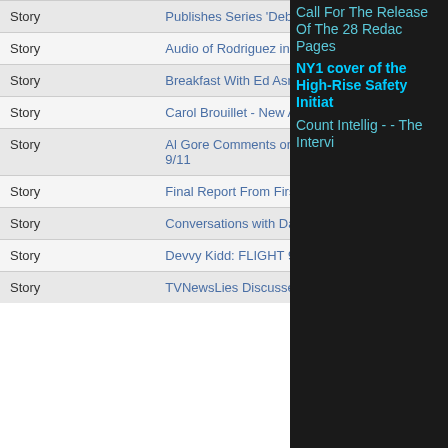| Type | Title | Author | Comments |
| --- | --- | --- | --- |
| Story | Publishes Series 'Debunking the Myths of 9/11' |  |  |
| Story | Audio of Rodriguez in London - 11/27/2006 | Reprehensor | 3 |
| Story | Breakfast With Ed Asner | Somebigguy | 7 |
| Story | Carol Brouillet - New Article and Radio Interview TONIGHT | Reprehensor | 28 |
| Story | Al Gore Comments on Bush's 'Catastrophic Failure[s]' Regarding 9/11 | dz | 93 |
| Story | Final Report From First 9/11 Event in Suriname | dz | 36 |
| Story | Conversations with Daschle: Lee Hamilton on 9/11 | Somebigguy | 14 |
| Story | Devvy Kidd: FLIGHT 93 LAWSUIT UPDATE | Reprehensor | 75 |
| Story | TVNewsLies Discusses the Real Ties Between 9/11 and Iraq | dz | 79 |
Call For The Release Of The 28 Redacted Pages
NY1 coverage of the High-Rise Safety Initiative
Counter Intelligence - - The Interview